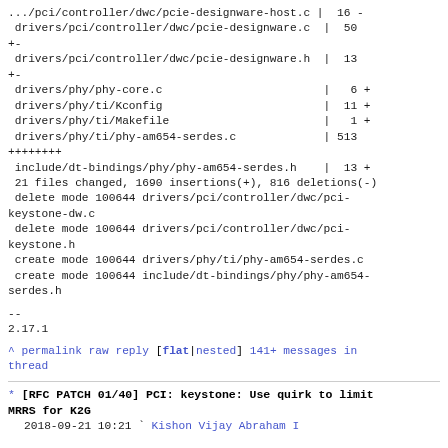.../pci/controller/dwc/pcie-designware-host.c |  16 -
 drivers/pci/controller/dwc/pcie-designware.c   |  50
+-
 drivers/pci/controller/dwc/pcie-designware.h   |  13
+-
 drivers/phy/phy-core.c                         |   6 +
 drivers/phy/ti/Kconfig                         |  11 +
 drivers/phy/ti/Makefile                        |   1 +
 drivers/phy/ti/phy-am654-serdes.c              | 513
++++++++
 include/dt-bindings/phy/phy-am654-serdes.h     |  13 +
 21 files changed, 1690 insertions(+), 816 deletions(-)
 delete mode 100644 drivers/pci/controller/dwc/pci-keystone-dw.c
 delete mode 100644 drivers/pci/controller/dwc/pci-keystone.h
 create mode 100644 drivers/phy/ti/phy-am654-serdes.c
 create mode 100644 include/dt-bindings/phy/phy-am654-serdes.h
--
2.17.1
^ permalink raw reply   [flat|nested] 141+ messages in thread
* [RFC PATCH 01/40] PCI: keystone: Use quirk to limit MRRS for K2G
    2018-09-21 10:21 ` Kishon Vijay Abraham I